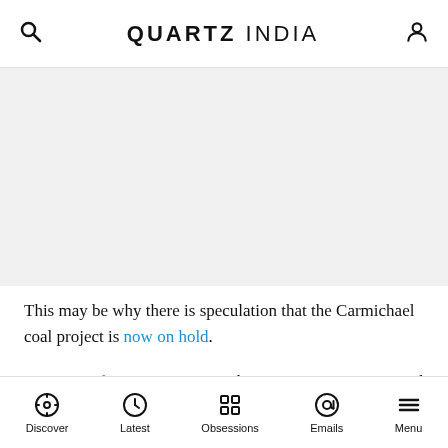QUARTZ INDIA
[Figure (other): Advertisement or empty gray area]
This may be why there is speculation that the Carmichael coal project is now on hold.
Lynette Molyneaux is a researcher, Energy Economics and Management Group, Global Change Institute, The University of Queensland; John Foster is a professor of
Discover | Latest | Obsessions | Emails | Menu